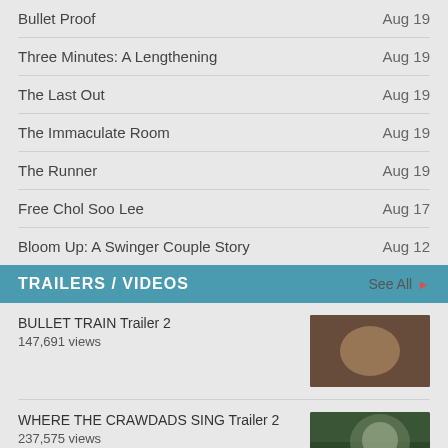Bullet Proof — Aug 19
Three Minutes: A Lengthening — Aug 19
The Last Out — Aug 19
The Immaculate Room — Aug 19
The Runner — Aug 19
Free Chol Soo Lee — Aug 17
Bloom Up: A Swinger Couple Story — Aug 12
TRAILERS / VIDEOS
BULLET TRAIN Trailer 2 — 147,691 views
WHERE THE CRAWDADS SING Trailer 2 — 237,575 views
BEAST Trailer